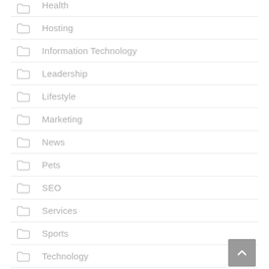Health
Hosting
Information Technology
Leadership
Lifestyle
Marketing
News
Pets
SEO
Services
Sports
Technology